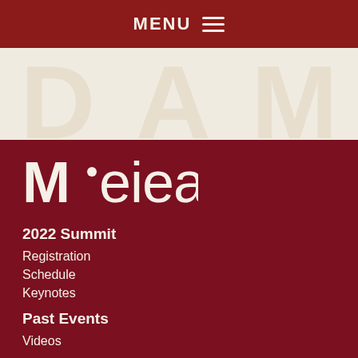MENU
[Figure (logo): M.eiea logo in cream color on dark red background]
2022 Summit
Registration
Schedule
Keynotes
Past Events
Videos